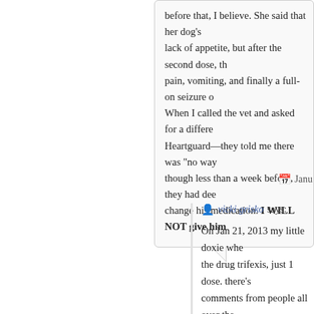before that, I believe. She said that her dog's lack of appetite, but after the second dose, th pain, vomiting, and finally a full-on seizure o When I called the vet and asked for a differe Heartguard—they told me there was "no way though less than a week before, they had dee change his medication. I WILL NOT give him
Janu
vicki grisko says:
On Jan 21, 2013 my little doxie wh the drug trifexis, just 1 dose. there's comments from people all over the drug.